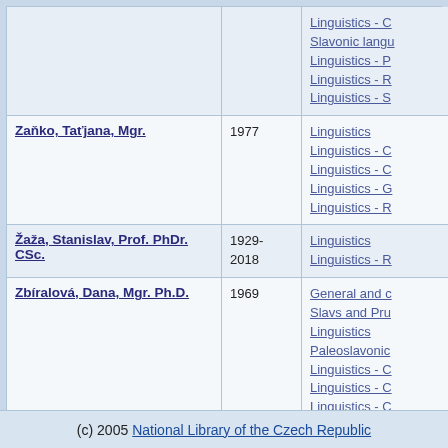| Name | Year | Subjects |
| --- | --- | --- |
|  |  | Linguistics - C
Slavonic langu
Linguistics - P
Linguistics - R
Linguistics - S |
| Zaňko, Taťjana, Mgr. | 1977 | Linguistics
Linguistics - C
Linguistics - C
Linguistics - G
Linguistics - R |
| Žaža, Stanislav, Prof. PhDr. CSc. | 1929-2018 | Linguistics
Linguistics - R |
| Zbíralová, Dana, Mgr. Ph.D. | 1969 | General and c
Slavs and Pru
Linguistics
Paleoslavonic
Linguistics - C
Linguistics - C
Linguistics - C
Slavonic langu
Linguistics - R |
| Žváček, Dušan, Doc. PhDr. CSc. | 1934 | Linguistics - C
Linguistics - R
Linguistics - S |
(c) 2005 National Library of the Czech Republic